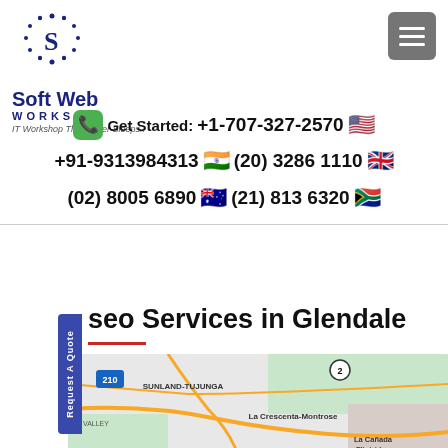[Figure (logo): Soft Web Works logo with circular dotted icon, blue text reading 'Soft Web WORKS', tagline 'IT Workshop That Never Sleeps..']
[Figure (other): Grey hamburger menu button (three horizontal lines) in top right corner]
Get Started: +1-707-327-2570 🇺🇸
+91-9313984313 🇮🇳  (20) 3286 1110 🇬🇧
(02) 8005 6890 🇦🇺  (21) 813 6320 🇿🇦
Request A Quote
seo Services in Glendale
[Figure (map): Google Maps screenshot showing Glendale area with Sunland-Tujunga, La Crescenta-Montrose, La Cañada Flintridge labels and route 210 and 2 marked]